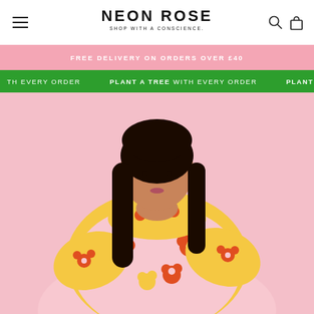NEON ROSE — SHOP WITH A CONSCIENCE.
FREE DELIVERY ON ORDERS OVER £40
PLANT A TREE WITH EVERY ORDER
[Figure (photo): A woman wearing a floral print oversized dress in pink, orange, yellow and white flowers, posed against a pink background.]